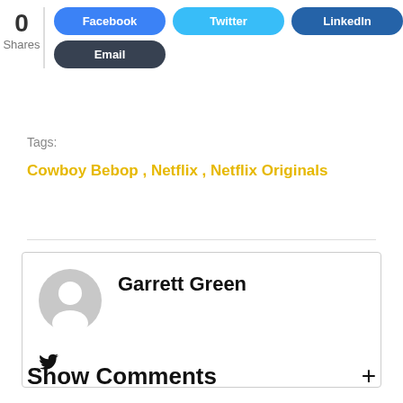0 Shares
[Figure (screenshot): Social share buttons: Facebook (blue pill button), Twitter (light blue pill button), LinkedIn (dark blue pill button), Email (dark gray pill button)]
Tags:
Cowboy Bebop , Netflix , Netflix Originals
[Figure (other): Author card with avatar placeholder, name Garrett Green, and a Twitter bird icon]
Show Comments +